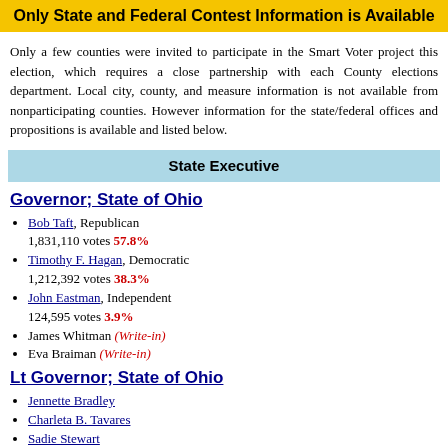Only State and Federal Contest Information is Available
Only a few counties were invited to participate in the Smart Voter project this election, which requires a close partnership with each County elections department. Local city, county, and measure information is not available from nonparticipating counties. However information for the state/federal offices and propositions is available and listed below.
State Executive
Governor; State of Ohio
Bob Taft, Republican 1,831,110 votes 57.8%
Timothy F. Hagan, Democratic 1,212,392 votes 38.3%
John Eastman, Independent 124,595 votes 3.9%
James Whitman (Write-in)
Eva Braiman (Write-in)
Lt Governor; State of Ohio
Jennette Bradley
Charleta B. Tavares
Sadie Stewart